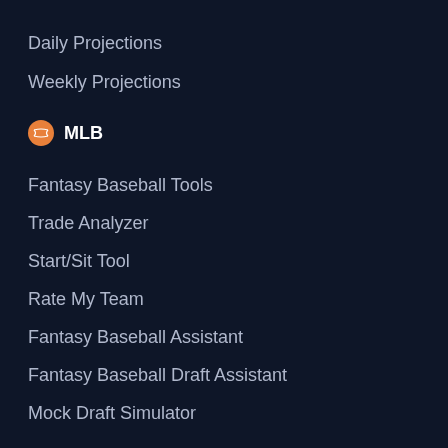Daily Projections
Weekly Projections
MLB
Fantasy Baseball Tools
Trade Analyzer
Start/Sit Tool
Rate My Team
Fantasy Baseball Assistant
Fantasy Baseball Draft Assistant
Mock Draft Simulator
Waiver Wire
Injury News
Baseball Prospects News
Average Draft Position
Offensive Rankings